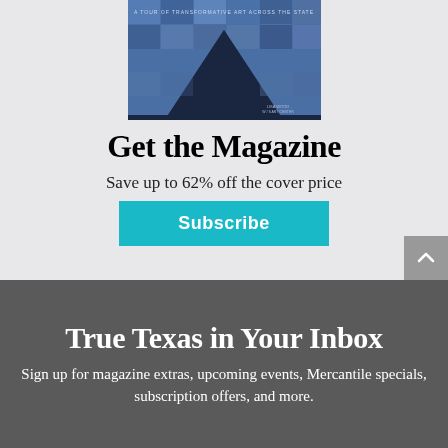[Figure (photo): Magazine cover showing a mountain peak against a blue grid/tile patterned background with text 'A Tour of Transformative Art Across the State']
Get the Magazine
Save up to 62% off the cover price
Subscribe
True Texas in Your Inbox
Sign up for magazine extras, upcoming events, Mercantile specials, subscription offers, and more.